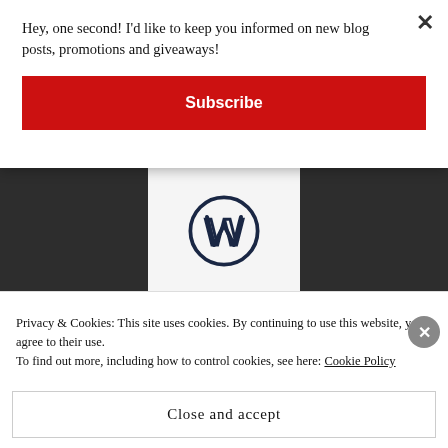Hey, one second! I'd like to keep you informed on new blog posts, promotions and giveaways!
Subscribe
[Figure (logo): WordPress 'W' logo in dark navy circle]
[Figure (logo): Crown/badge logo with text CROWN in cyan dotted border]
Privacy & Cookies: This site uses cookies. By continuing to use this website, you agree to their use.
To find out more, including how to control cookies, see here: Cookie Policy
Close and accept